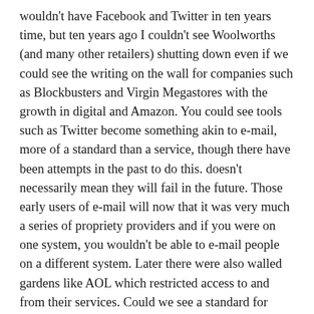wouldn't have Facebook and Twitter in ten years time, but ten years ago I couldn't see Woolworths (and many other retailers) shutting down even if we could see the writing on the wall for companies such as Blockbusters and Virgin Megastores with the growth in digital and Amazon. You could see tools such as Twitter become something akin to e-mail, more of a standard than a service, though there have been attempts in the past to do this. doesn't necessarily mean they will fail in the future. Those early users of e-mail will now that it was very much a series of propriety providers and if you were on one system, you wouldn't be able to e-mail people on a different system. Later there were also walled gardens like AOL which restricted access to and from their services. Could we see a standard for services such as Twitter, possibly in the next ten years.
In a similar vein many people but I don't think we thought that streaming services such as Netflix, Amazon Prime, Spotify, Pandora and so on would have the impact they had has over the last few years. Back when the iTunes store opened in the